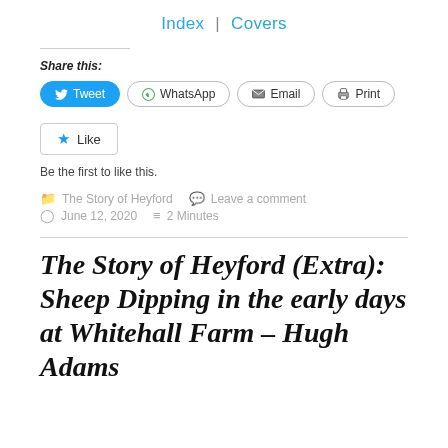Index | Covers
Share this:
Tweet  WhatsApp  Email  Print
Like
Be the first to like this.
The Story of Heyford   Leave a comment   June 12, 2020   2 Minutes
The Story of Heyford (Extra): Sheep Dipping in the early days at Whitehall Farm – Hugh Adams